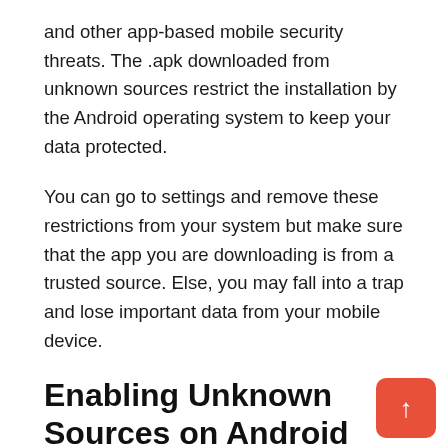and other app-based mobile security threats. The .apk downloaded from unknown sources restrict the installation by the Android operating system to keep your data protected.
You can go to settings and remove these restrictions from your system but make sure that the app you are downloading is from a trusted source. Else, you may fall into a trap and lose important data from your mobile device.
Enabling Unknown Sources on Android
Every Android OS version differs from the other and requires a little change in the procedure of secure app